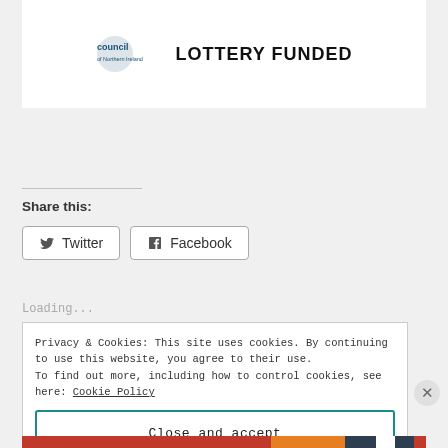[Figure (logo): Arts Council of Northern Ireland logo alongside 'LOTTERY FUNDED' text]
Share this:
[Figure (other): Twitter and Facebook share buttons]
Loading...
Privacy & Cookies: This site uses cookies. By continuing to use this website, you agree to their use. To find out more, including how to control cookies, see here: Cookie Policy
Close and accept